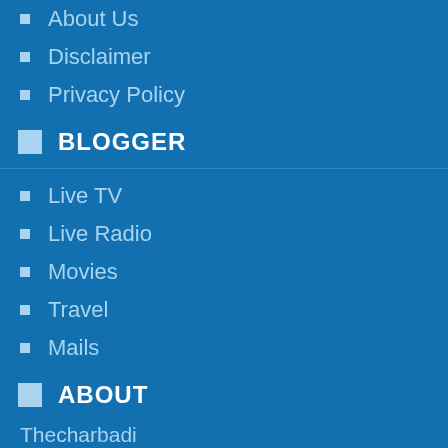About Us
Disclaimer
Privacy Policy
BLOGGER
Live TV
Live Radio
Movies
Travel
Mails
ABOUT
Thecharbadi
[Figure (infographic): Social media icons: Facebook, Twitter, Google+, RSS feed]